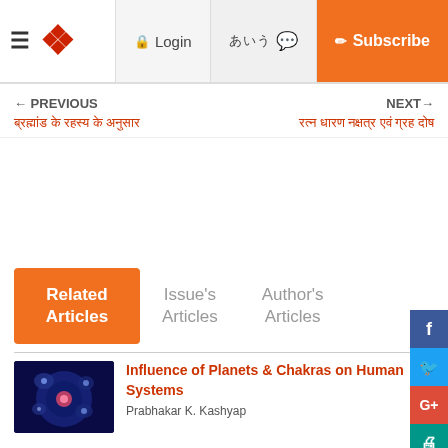Login | हिन्दी | Subscribe
← PREVIOUS
ब्रह्मांड के रहस्य के अनुसार
NEXT→
रत्न धारण नक्षत्र एवं ग्रह दोष
Related Articles | Issue's Articles | Author's Articles
[Figure (photo): Blue cosmic/planetary illustration with glowing circles and planet-like shapes]
Influence of Planets & Chakras on Human Systems
Prabhakar K. Kashyap